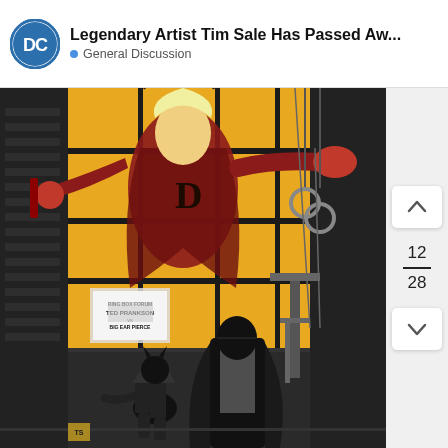[Figure (screenshot): DC Comics forum/community app interface showing a thread titled 'Legendary Artist Tim Sale Has Passed Aw...' under General Discussion, with a DC logo and comic artwork by Tim Sale showing a superhero gym scene with a large yellow-windowed training hall, a Daredevil-like poster figure in the background windows, and Batman-like figures in the foreground in black and white. Navigation arrows and page counter (12/28) visible on the right side.]